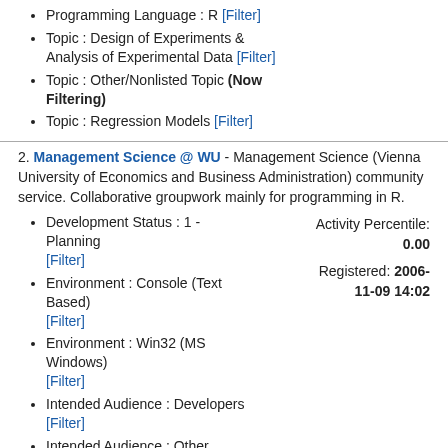Programming Language : R [Filter]
Topic : Design of Experiments & Analysis of Experimental Data [Filter]
Topic : Other/Nonlisted Topic (Now Filtering)
Topic : Regression Models [Filter]
2. Management Science @ WU - Management Science (Vienna University of Economics and Business Administration) community service. Collaborative groupwork mainly for programming in R.
Development Status : 1 - Planning [Filter]
Environment : Console (Text Based) [Filter]
Environment : Win32 (MS Windows) [Filter]
Intended Audience : Developers [Filter]
Intended Audience : Other Audience [Filter]
License : OSI Approved : GNU General Public License (GPL) (Now Filtering)
Natural Language : English [Filter]
Natural Language : German [Filter]
Operating System : Microsoft : Windows [Filter]
Operating System : POSIX : Linux (Now